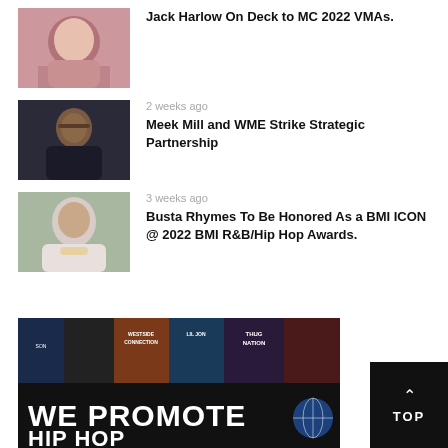[Figure (photo): Thumbnail photo of Jack Harlow]
Jack Harlow On Deck to MC 2022 VMAs.
2 weeks ago
[Figure (photo): Thumbnail photo of Meek Mill]
Meek Mill and WME Strike Strategic Partnership
3 weeks ago
[Figure (photo): Thumbnail photo of Busta Rhymes]
Busta Rhymes To Be Honored As a BMI ICON @ 2022 BMI R&B/Hip Hop Awards.
[Figure (photo): Hip hop album covers banner with text WE PROMOTE HIP HOP]